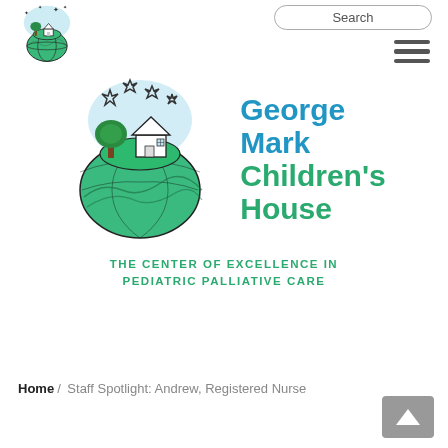[Figure (logo): Small George Mark Children's House logo - sketch of house and tree on globe with stars, top-left navigation area]
Search
[Figure (illustration): Hamburger menu icon - three horizontal bars]
[Figure (logo): Large George Mark Children's House logo - hand-drawn style globe with house and tree, stars above, teal and blue coloring]
George Mark Children's House THE CENTER OF EXCELLENCE IN PEDIATRIC PALLIATIVE CARE
Home / Staff Spotlight: Andrew, Registered Nurse